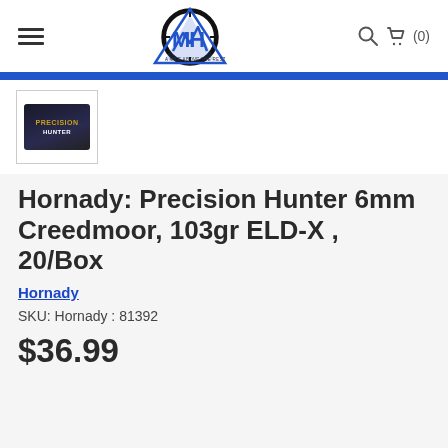MH - A Mile Above the Rest (navigation header with logo)
[Figure (screenshot): Product thumbnail image of Hornady Precision Hunter ammunition box, dark blue/black box]
Hornady: Precision Hunter 6mm Creedmoor, 103gr ELD-X , 20/Box
Hornady
SKU: Hornady : 81392
$36.99